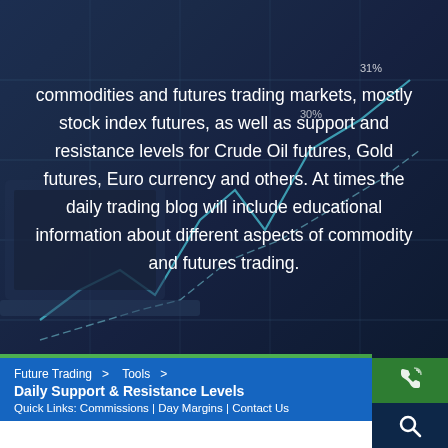commodities and futures trading markets, mostly stock index futures, as well as support and resistance levels for Crude Oil futures, Gold futures, Euro currency and others. At times the daily trading blog will include educational information about different aspects of commodity and futures trading.
Future Trading  >  Tools  >  Daily Support & Resistance Levels
Quick Links: Commissions | Day Margins | Contact Us
[Figure (infographic): Dark blue background with stock market chart lines and laptop imagery, overlaid with white text about commodities and futures trading.]
[Figure (illustration): Green phone icon on dark green background (call button)]
[Figure (illustration): White magnifying glass search icon on dark blue background]
[Figure (illustration): Green rising bar chart icon on dark blue background]
OPEN AN ACCOUNT
Shares
[Figure (logo): Facebook social share button (white f on blue)]
[Figure (logo): Twitter social share button (white bird on light blue)]
[Figure (logo): Google+ social share button (white G+ on red)]
[Figure (logo): Pinterest social share button (white P on dark red)]
[Figure (logo): Like/thumbs-up button on grey background]
[Figure (logo): Email/envelope button on grey background]
[Figure (illustration): Round blue chat bubble icon]